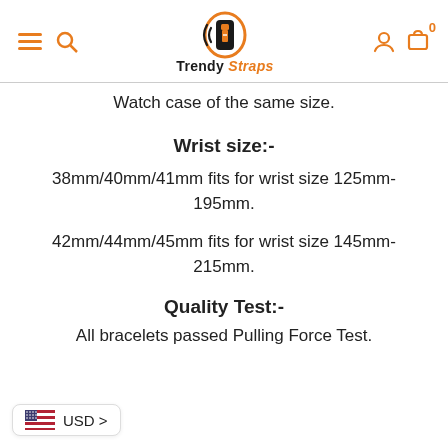Trendy Straps
Watch case of the same size.
Wrist size:-
38mm/40mm/41mm fits for wrist size 125mm-195mm.
42mm/44mm/45mm fits for wrist size 145mm-215mm.
Quality Test:-
All bracelets passed Pulling Force Test.